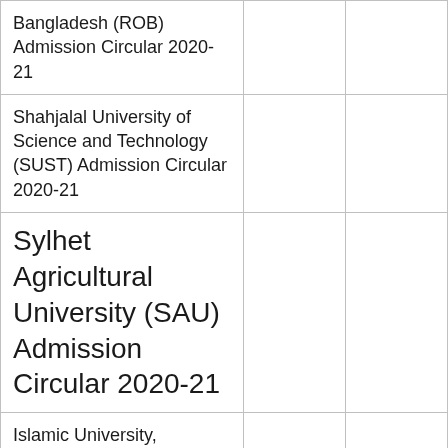| Bangladesh (ROB) Admission Circular 2020-21 |  |  |
| Shahjalal University of Science and Technology (SUST) Admission Circular 2020-21 |  |  |
| Sylhet Agricultural University (SAU) Admission Circular 2020-21 |  |  |
| Islamic University, Bangladesh (IU) Admission Circular 202- |  |  |